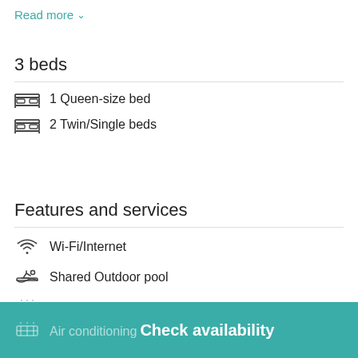Read more ∨
3 beds
1 Queen-size bed
2 Twin/Single beds
Features and services
Wi-Fi/Internet
Shared Outdoor pool
Heating
Air conditioning
Check availability